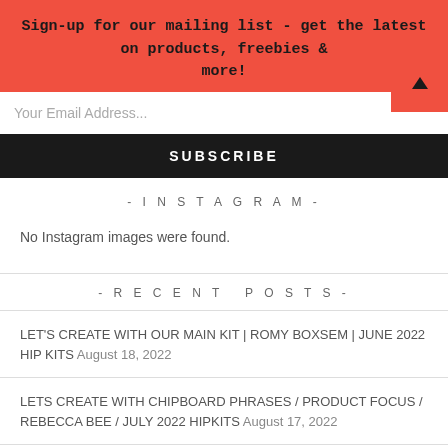Sign-up for our mailing list - get the latest on products, freebies & more!
Your Email Address...
SUBSCRIBE
- INSTAGRAM -
No Instagram images were found.
- RECENT POSTS -
LET'S CREATE WITH OUR MAIN KIT | ROMY BOXSEM | JUNE 2022 HIP KITS August 18, 2022
LETS CREATE WITH CHIPBOARD PHRASES / PRODUCT FOCUS / REBECCA BEE / JULY 2022 HIPKITS August 17, 2022
LET'S USE CUT FILES | JENNIFER RAMBERT | JUNE 2022 HIP